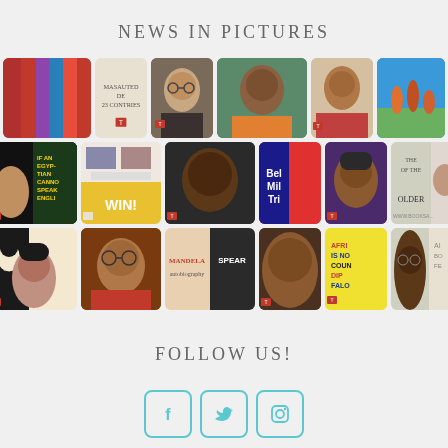NEWS IN PICTURES
[Figure (photo): Grid of 15 thumbnail images arranged in 3 rows of 5, showing book covers and portraits of authors and people]
FOLLOW US!
[Figure (infographic): Three social media icon buttons: Facebook, Twitter, Instagram with teal/cyan borders]